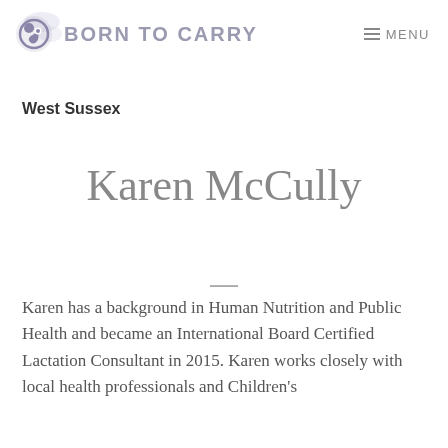BORN TO CARRY   MENU
West Sussex
Karen McCully
Karen has a background in Human Nutrition and Public Health and became an International Board Certified Lactation Consultant in 2015. Karen works closely with local health professionals and Children's